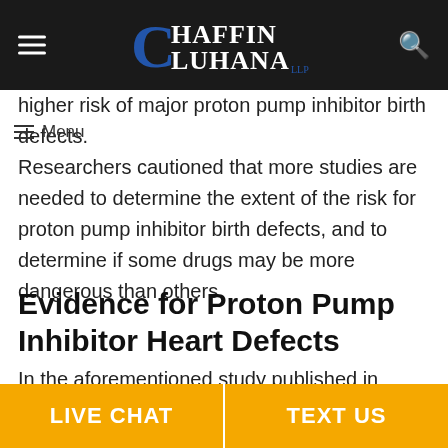Chaffin Luhana LLP – navigation bar with logo, hamburger menu, and search icon
higher risk of major proton pump inhibitor birth defects.
Menu
Researchers cautioned that more studies are needed to determine the extent of the risk for proton pump inhibitor birth defects, and to determine if some drugs may be more dangerous than others.
Evidence for Proton Pump Inhibitor Heart Defects
In the aforementioned study published in Gastroenterology, researchers at the University of Pennsylvania found that the use of PPI drugs like Prilosec, Nexium, Prevacid, Protonix, Aciphex and Dexilant during pregnancy was associated with
LIVE CHAT | TEXT US